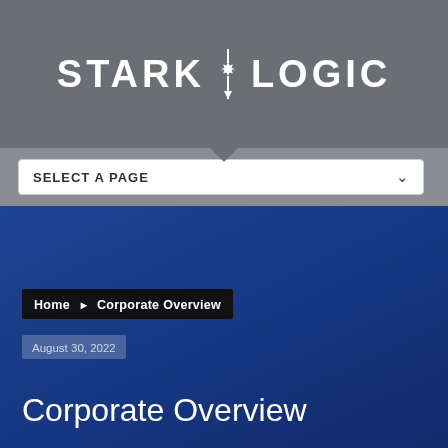[Figure (logo): Stark Logic company logo in white text on gray background, with a gear/star icon between the two words and a vertical divider line]
SELECT A PAGE
Home ▶ Corporate Overview
August 30, 2022
Corporate Overview